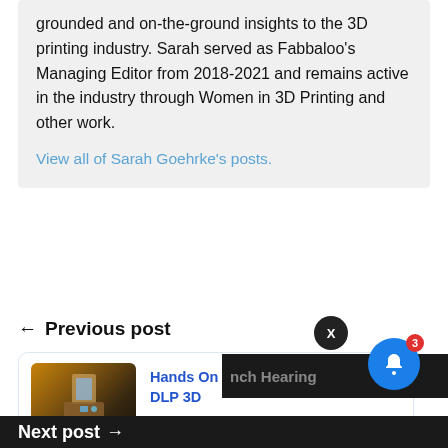grounded and on-the-ground insights to the 3D printing industry. Sarah served as Fabbaloo's Managing Editor from 2018-2021 and remains active in the industry through Women in 3D Printing and other work.
View all of Sarah Goehrke's posts.
← Previous post
[Figure (screenshot): Post card preview showing thumbnail of Anycubic D2 DLP 3D printer with blue title link and timestamp]
Hands On With The Anycubic D2 DLP 3D
16 hours ago
Next post →